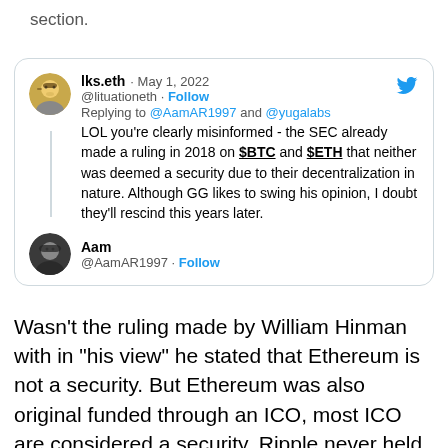section.
[Figure (screenshot): Tweet from lks.eth (@lituationeth) dated May 1, 2022, replying to @AamAR1997 and @yugalabs: 'LOL you're clearly misinformed - the SEC already made a ruling in 2018 on $BTC and $ETH that neither was deemed a security due to their decentralization in nature. Although GG likes to swing his opinion, I doubt they'll rescind this years later.' Followed by Aam (@AamAR1997) with a Follow button.]
Wasn't the ruling made by William Hinman with in "his view" he stated that Ethereum is not a security. But Ethereum was also original funded through an ICO, most ICO are considered a security. Ripple never held an ICO. Why is the SEC keep